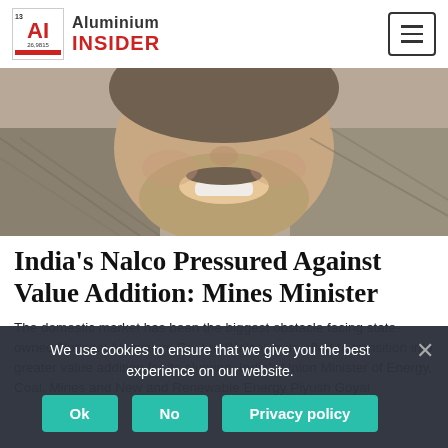Aluminium Insider
[Figure (photo): Close-up photo of a smiling man with grey beard and moustache wearing a plaid/checked jacket]
India's Nalco Pressured Against Value Addition: Mines Minister
The domestic market has been the biggest obstacle facing state-owned National Aluminium Co. Ltd (Nalco) in its effort to transition into greater value addition for its alumina, India's Union Minister of Energy, Coal, Mines and New and Renewable Energy Piyush Goyal
We use cookies to ensure that we give you the best experience on our website.